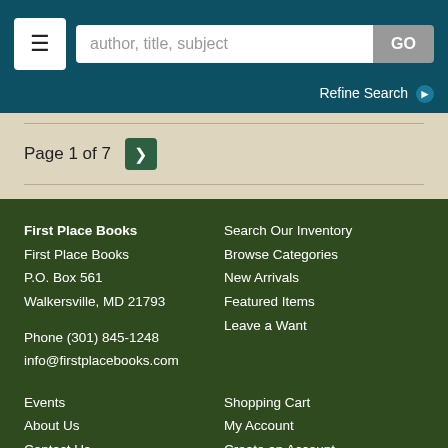author, title, subject | GO | Refine Search
Page 1 of 7
First Place Books
First Place Books
P.O. Box 561
Walkersville, MD 21793

Phone (301) 845-1248
info@firstplacebooks.com
Search Our Inventory
Browse Categories
New Arrivals
Featured Items
Leave a Want
Events
About Us
Contact Us
Terms of Sale
Privacy Policy
Shopping Cart
My Account
Create an Account
Forgot Password